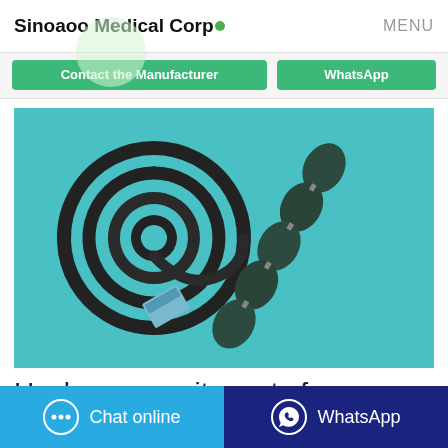Sinoaoo Medical Corp  MENU
[Figure (illustration): Two green buttons: 'Contact the Manufacturer' and 'WhatsApp']
[Figure (photo): Photo of a mosquito coil (black spiral) and mosquito mat strips on a teal/cyan background]
Hacker mosquito mats from China Manufacturer
Chat online  WhatsApp